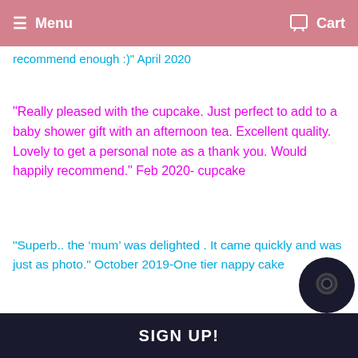≡ Menu  🛒 Cart
recommend enough :)" April 2020
"Really pleased with the cupcake. Just perfect to add to a baby shower gift with an afternoon tea. Excellent quality. Lovely to get a personal note as a thank you. Would happily recommend." Feb 2020- cupcake
"Superb.. the ‘mum’ was delighted . It came quickly and was just as photo." October 2019-One tier nappy cake
SIGN UP!